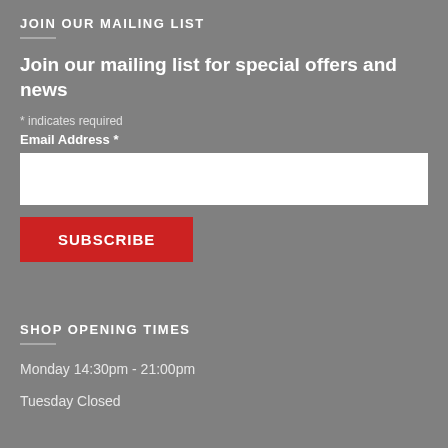JOIN OUR MAILING LIST
Join our mailing list for special offers and news
* indicates required
Email Address *
SHOP OPENING TIMES
Monday 14:30pm - 21:00pm
Tuesday Closed